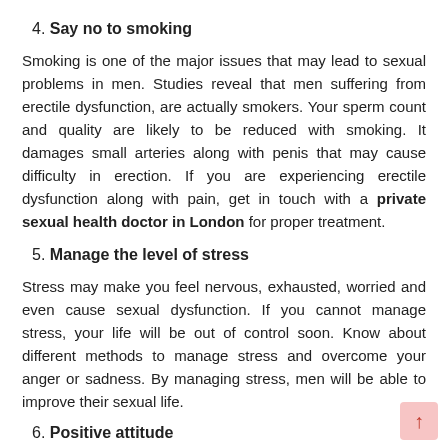4. Say no to smoking
Smoking is one of the major issues that may lead to sexual problems in men. Studies reveal that men suffering from erectile dysfunction, are actually smokers. Your sperm count and quality are likely to be reduced with smoking. It damages small arteries along with penis that may cause difficulty in erection. If you are experiencing erectile dysfunction along with pain, get in touch with a private sexual health doctor in London for proper treatment.
5. Manage the level of stress
Stress may make you feel nervous, exhausted, worried and even cause sexual dysfunction. If you cannot manage stress, your life will be out of control soon. Know about different methods to manage stress and overcome your anger or sadness. By managing stress, men will be able to improve their sexual life.
6. Positive attitude